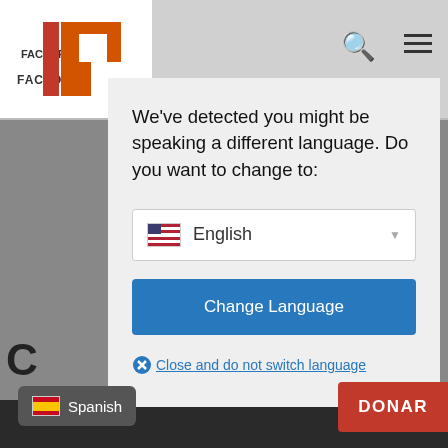[Figure (screenshot): Website header/nav bar with Factor logo, search icon, and hamburger menu on a grey background]
[Figure (screenshot): Language detection modal dialog box with dropdown showing English and a blue Change Language button]
We've detected you might be speaking a different language. Do you want to change to:
English
Change Language
Close and do not switch language
Spanish
DONAR